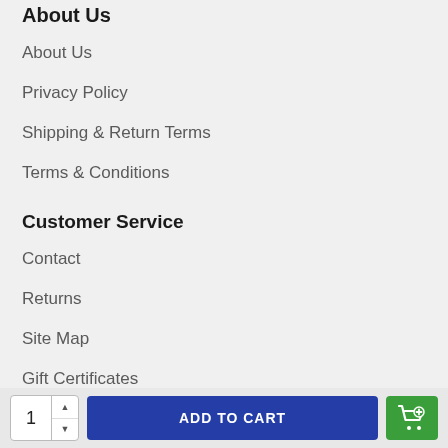About Us
About Us
Privacy Policy
Shipping & Return Terms
Terms & Conditions
Customer Service
Contact
Returns
Site Map
Gift Certificates
My Account
[Figure (screenshot): Add to cart bar with quantity selector showing 1, blue ADD TO CART button, and green cart icon button]